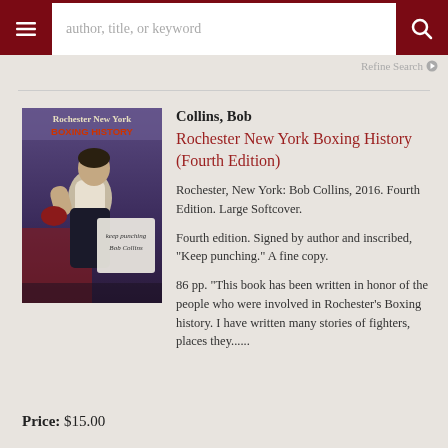[Figure (screenshot): Navigation bar with hamburger menu, search input field reading 'author, title, or keyword', and search button]
Refine Search
[Figure (photo): Book cover of 'Rochester New York BOXING HISTORY' showing a boxer, with handwritten inscription 'Keep punching Bob Collins']
Collins, Bob
Rochester New York Boxing History (Fourth Edition)
Rochester, New York: Bob Collins, 2016. Fourth Edition. Large Softcover.
Fourth edition. Signed by author and inscribed, "Keep punching." A fine copy.
86 pp. "This book has been written in honor of the people who were involved in Rochester's Boxing history. I have written many stories of fighters, places they......
Price: $15.00